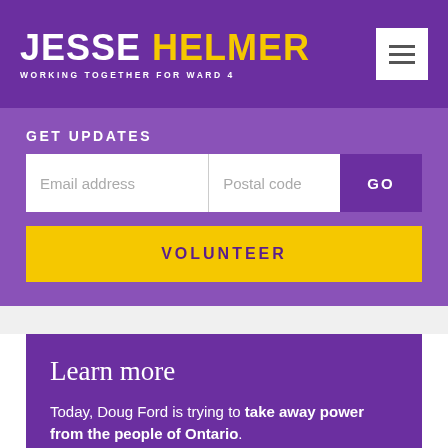JESSE HELMER — WORKING TOGETHER FOR WARD 4
GET UPDATES
Email address | Postal code | GO
VOLUNTEER
Learn more
Today, Doug Ford is trying to take away power from the people of Ontario.
Taking away the option of ranked ballots makes our democracy worse. It reduces the political voice